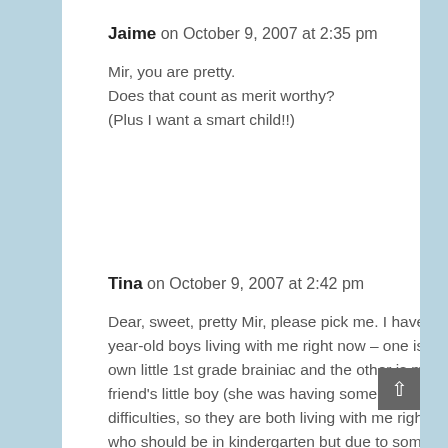66.
Jaime on October 9, 2007 at 2:35 pm
Mir, you are pretty.
Does that count as merit worthy?
(Plus I want a smart child!!)
67.
Tina on October 9, 2007 at 2:42 pm
Dear, sweet, pretty Mir, please pick me. I have 2 6-year-old boys living with me right now – one is my own little 1st grade brainiac and the other is my best friend's little boy (she was having some financial difficulties, so they are both living with me right now) who should be in kindergarten but due to some bureaucratic issue with